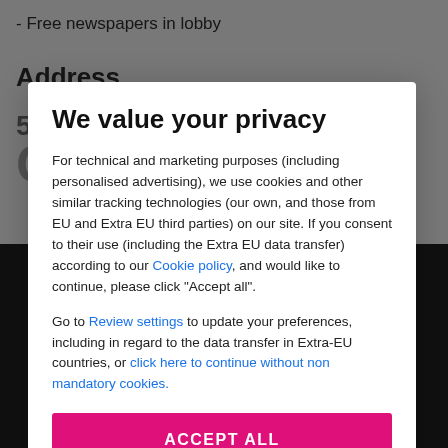- Free newspapers in lobby
Address
[Figure (screenshot): Dark background image of a hotel or building exterior at night, partially visible behind modal overlay. A pink circular scroll-up button is visible.]
We value your privacy
For technical and marketing purposes (including personalised advertising), we use cookies and other similar tracking technologies (our own, and those from EU and Extra EU third parties) on our site. If you consent to their use (including the Extra EU data transfer) according to our Cookie policy, and would like to continue, please click "Accept all".
Go to Review settings to update your preferences, including in regard to the data transfer in Extra-EU countries, or click here to continue without non mandatory cookies.
ACCEPT ALL